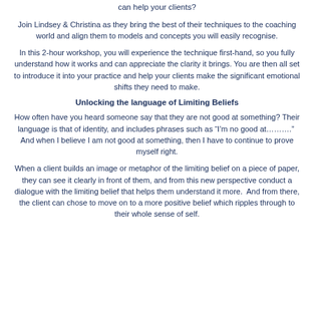can help your clients?
Join Lindsey & Christina as they bring the best of their techniques to the coaching world and align them to models and concepts you will easily recognise.
In this 2-hour workshop, you will experience the technique first-hand, so you fully understand how it works and can appreciate the clarity it brings. You are then all set to introduce it into your practice and help your clients make the significant emotional shifts they need to make.
Unlocking the language of Limiting Beliefs
How often have you heard someone say that they are not good at something? Their language is that of identity, and includes phrases such as “I’m no good at……….”  And when I believe I am not good at something, then I have to continue to prove myself right.
When a client builds an image or metaphor of the limiting belief on a piece of paper, they can see it clearly in front of them, and from this new perspective conduct a dialogue with the limiting belief that helps them understand it more.  And from there, the client can chose to move on to a more positive belief which ripples through to their whole sense of self.